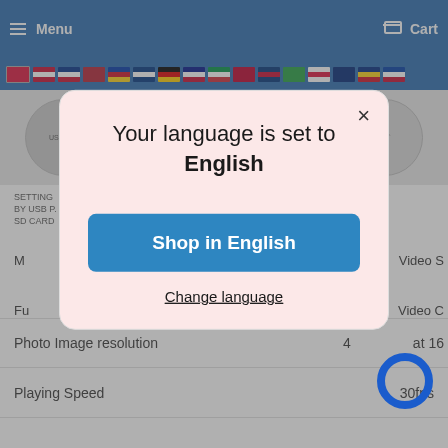[Figure (screenshot): E-commerce website screenshot showing language selection modal overlay with 'Your language is set to English' dialog, 'Shop in English' button, and 'Change language' link. Background shows product page with navigation bar, flags for multiple countries, product feature circles, and specs table partially visible.]
Your language is set to
English
Shop in English
Change language
Photo Image resolution
Playing Speed
30fps